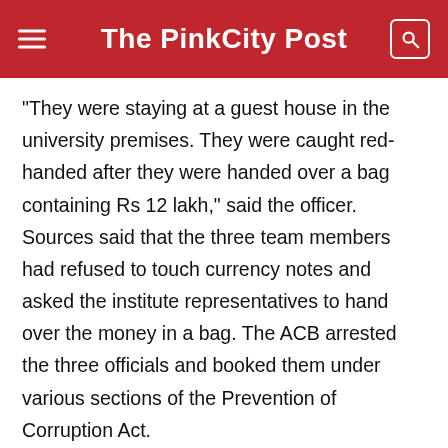The PinkCity Post
“They were staying at a guest house in the university premises. They were caught red-handed after they were handed over a bag containing Rs 12 lakh,” said the officer. Sources said that the three team members had refused to touch currency notes and asked the institute representatives to hand over the money in a bag. The ACB arrested the three officials and booked them under various sections of the Prevention of Corruption Act.
[Figure (other): Social media share buttons: Twitter (blue bird), Facebook (blue f), WhatsApp (green chat icon)]